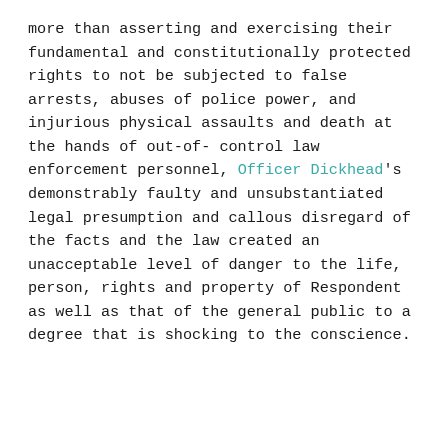more than asserting and exercising their fundamental and constitutionally protected rights to not be subjected to false arrests, abuses of police power, and injurious physical assaults and death at the hands of out-of-control law enforcement personnel, Officer Dickhead's demonstrably faulty and unsubstantiated legal presumption and callous disregard of the facts and the law created an unacceptable level of danger to the life, person, rights and property of Respondent as well as that of the general public to a degree that is shocking to the conscience.